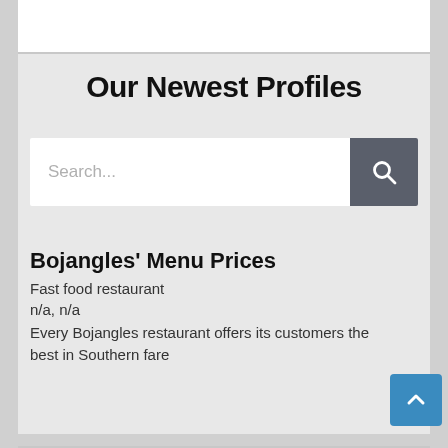Our Newest Profiles
[Figure (screenshot): Search bar with text input area and dark grey search button with magnifying glass icon]
Bojangles’ Menu Prices
Fast food restaurant
n/a, n/a
Every Bojangles restaurant offers its customers the best in Southern fare